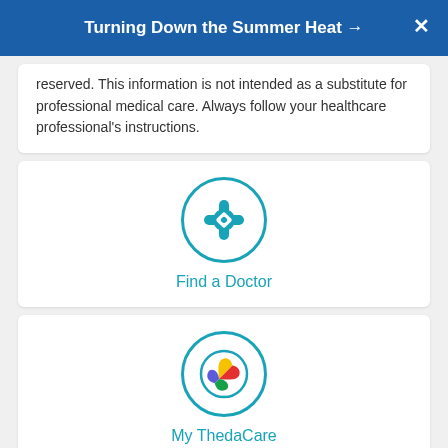Turning Down the Summer Heat →
reserved. This information is not intended as a substitute for professional medical care. Always follow your healthcare professional's instructions.
[Figure (illustration): Teal circle icon with a bandage/cross symbol — Find a Doctor link]
Find a Doctor
[Figure (logo): Colorful ThedaCare logo mark in a teal circle — My ThedaCare link]
My ThedaCare
[Figure (illustration): Teal circle with location pin icon — partially visible at bottom]